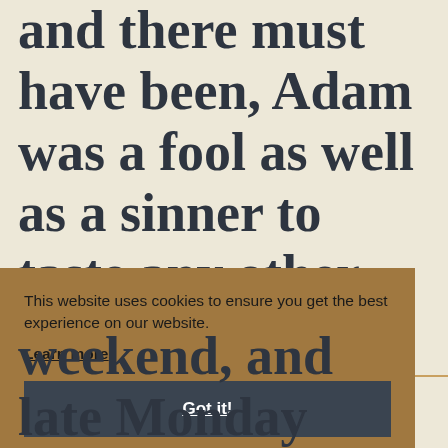and there must have been, Adam was a fool as well as a sinner to taste any other fruit.
This website uses cookies to ensure you get the best experience on our website.
Learn more
Got it!
weekend, and late Monday